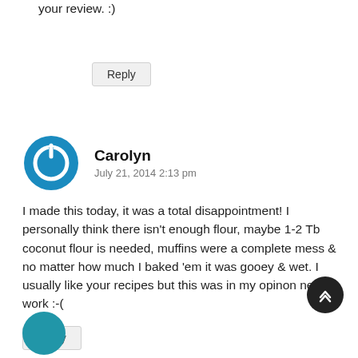your review. :)
Reply
Carolyn
July 21, 2014 2:13 pm
I made this today, it was a total disappointment! I personally think there isn't enough flour, maybe 1-2 Tb coconut flour is needed, muffins were a complete mess & no matter how much I baked 'em it was gooey & wet. I usually like your recipes but this was in my opinon needs work :-(
Reply